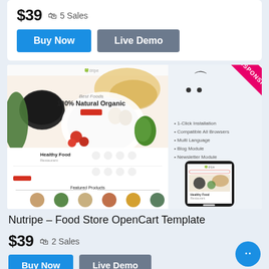$39  🛍 5 Sales
Buy Now | Live Demo
[Figure (screenshot): Screenshot of Nutripe Food Store OpenCart Template showing a food store website with 100% Natural Organic header, healthy food categories, featured products, and a mobile responsive view with a RESPONSIVE badge in the top right corner.]
Nutripe – Food Store OpenCart Template
$39  🛍 2 Sales
Buy Now | Live Demo